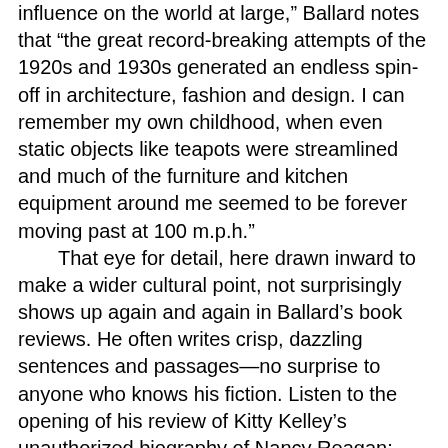influence on the world at large," Ballard notes that "the great record-breaking attempts of the 1920s and 1930s generated an endless spin-off in architecture, fashion and design. I can remember my own childhood, when even static objects like teapots were streamlined and much of the furniture and kitchen equipment around me seemed to be forever moving past at 100 m.p.h."
That eye for detail, here drawn inward to make a wider cultural point, not surprisingly shows up again and again in Ballard's book reviews. He often writes crisp, dazzling sentences and passages—no surprise to anyone who knows his fiction. Listen to the opening of his review of Kitty Kelley's unauthorized biography of Nancy Reagan:
But why didn't the astrologers see this coming? The sunsets above Mulholland Drive must be an even more electric pink these days as the whole of Bel Air blushes for Nancy. By now everyone knows about her White House affair with Frank Sinatra, her legendary meanness as she recycled unwanted Christmas presents, her reckless spending of the taxpayer's money and Imelda